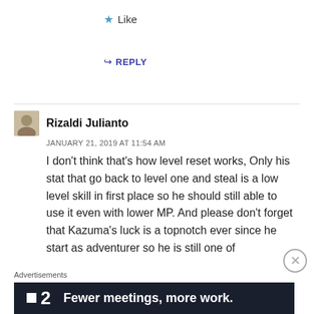★ Like
↳ REPLY
Rizaldi Julianto
JANUARY 21, 2019 AT 11:54 AM
I don't think that's how level reset works, Only his stat that go back to level one and steal is a low level skill in first place so he should still able to use it even with lower MP. And please don't forget that Kazuma's luck is a topnotch ever since he start as adventurer so he is still one of
Advertisements
[Figure (screenshot): Advertisement banner for a product showing a logo with a small square and the number 2, with text 'Fewer meetings, more work.' on a dark navy background]